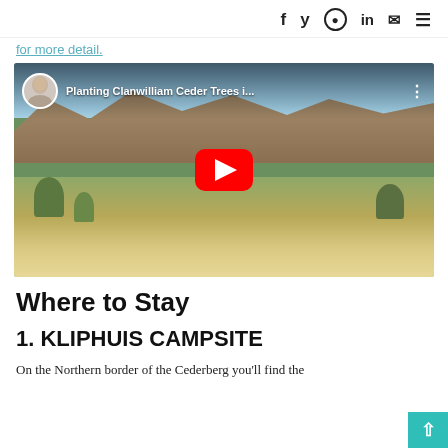f  y  in  [mail]  [menu]
for more detail.
[Figure (screenshot): YouTube video thumbnail showing a man standing in a desert landscape (Cederberg), holding a small tree. Video title: 'Planting Clanwilliam Ceder Trees i...' with a red YouTube play button overlay.]
Where to Stay
1. KLIPHUIS CAMPSITE
On the Northern border of the Cederberg you'll find the